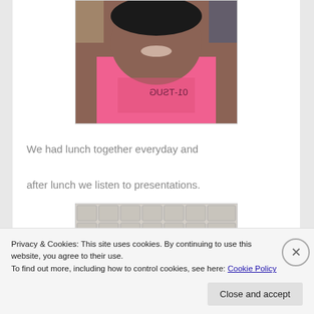[Figure (photo): A person wearing a pink t-shirt taking a selfie, smiling at the camera]
We had lunch together everyday and after lunch we listen to presentations.
[Figure (photo): Interior ceiling of a large room or hall with a grid pattern of ceiling tiles and banners hanging below]
Privacy & Cookies: This site uses cookies. By continuing to use this website, you agree to their use.
To find out more, including how to control cookies, see here: Cookie Policy
Close and accept